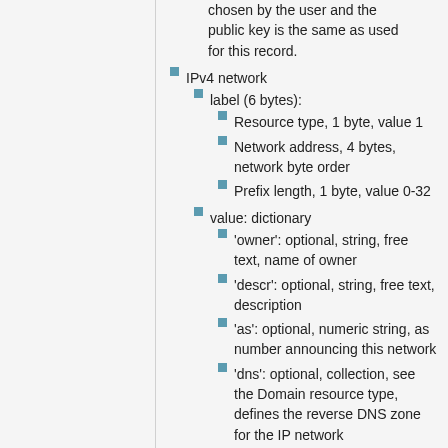chosen by the user and the public key is the same as used for this record.
IPv4 network
label (6 bytes):
Resource type, 1 byte, value 1
Network address, 4 bytes, network byte order
Prefix length, 1 byte, value 0-32
value: dictionary
'owner': optional, string, free text, name of owner
'descr': optional, string, free text, description
'as': optional, numeric string, as number announcing this network
'dns': optional, collection, see the Domain resource type, defines the reverse DNS zone for the IP network
IPv6 network
label (18 bytes):
Resource type, 1 byte, value 2